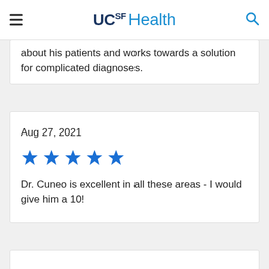UCSF Health
about his patients and works towards a solution for complicated diagnoses.
Aug 27, 2021
[Figure (other): 5 blue stars rating]
Dr. Cuneo is excellent in all these areas - I would give him a 10!